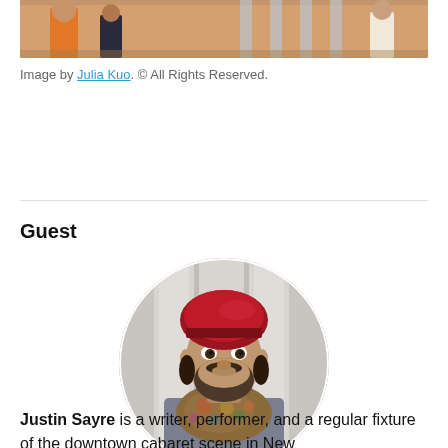[Figure (illustration): Partial illustration showing stylized figures in an urban setting with warm brown and orange tones]
Image by Julia Kuo. © All Rights Reserved.
Guest
[Figure (photo): Circular profile photo of Justin Sayre, a man wearing a red beret and colorful paisley scarf/neckerchief, with a beard]
Justin Sayre is a writer, performer, and a regular fixture of the downtown cabaret scene in New